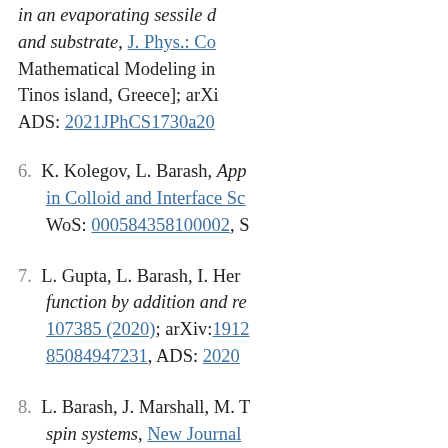in an evaporating sessile d... and substrate, J. Phys.: Co... Mathematical Modeling in... Tinos island, Greece]; arXi... ADS: 2021JPhCS1730a20...
6. K. Kolegov, L. Barash, App... in Colloid and Interface Sc... WoS: 000584358100002, S...
7. L. Gupta, L. Barash, I. Her... function by addition and re... 107385 (2020); arXiv:1912... 85084947231, ADS: 2020...
8. L. Barash, J. Marshall, M. T... spin systems, New Journal... WoS: 000478732400011, S...
9. M. Slutskii, T. Albash, L. B...